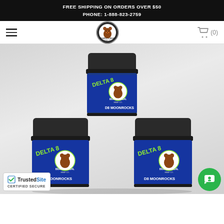FREE SHIPPING ON ORDERS OVER $50
PHONE: 1-888-823-2759
[Figure (logo): Bearly Legal Hemp Co. logo — circular badge with bear illustration]
[Figure (photo): Three jars of Bearly Legal Hemp Co. Delta 8 D8 Moonrocks product stacked in a pyramid formation, blue labels with black lids, on a light grey background]
[Figure (logo): TrustedSite Certified Secure badge in bottom left corner]
[Figure (other): Green circular chat support button in bottom right corner]